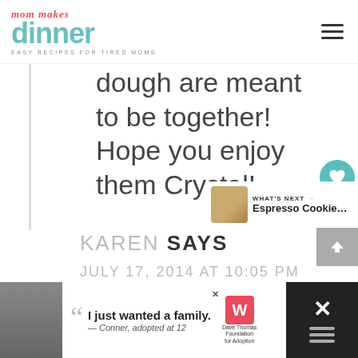mom makes dinner — EASY RECIPES FOR TIRED MOMS
dough are meant to be together! Hope you enjoy them Crystal!
KAREN SAYS
JULY 17, 2014 AT 10:05 PM
[Figure (other): Advertisement banner: Dave Thomas Foundation for Adoption — 'I just wanted a family. — Conner, adopted at 12']